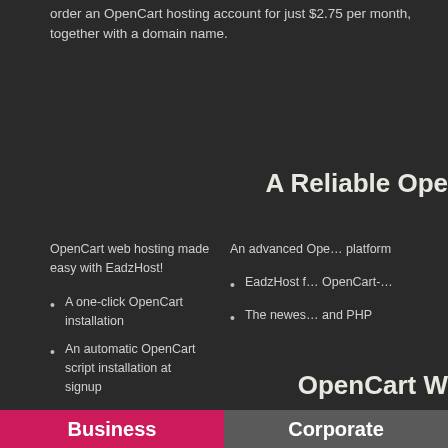order an OpenCart hosting account for just $2.75 per month, together with a domain name.
A Reliable Ope…
OpenCart web hosting made easy with EadzHost!
An advanced Ope… platform
A one-click OpenCart installation
An automatic OpenCart script installation at signup
EadzHost f… OpenCart-…
The newes… and PHP
OpenCart W…
Business
Corporate